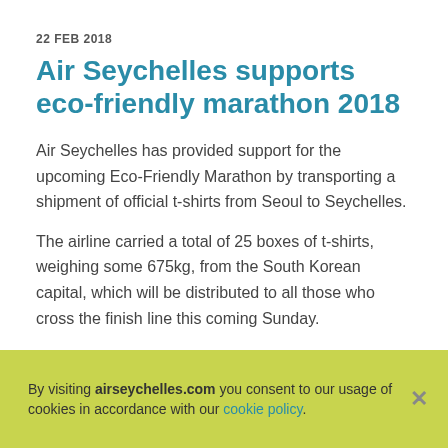22 FEB 2018
Air Seychelles supports eco-friendly marathon 2018
Air Seychelles has provided support for the upcoming Eco-Friendly Marathon by transporting a shipment of official t-shirts from Seoul to Seychelles.
The airline carried a total of 25 boxes of t-shirts, weighing some 675kg, from the South Korean capital, which will be distributed to all those who cross the finish line this coming Sunday.
By visiting airseychelles.com you consent to our usage of cookies in accordance with our cookie policy.